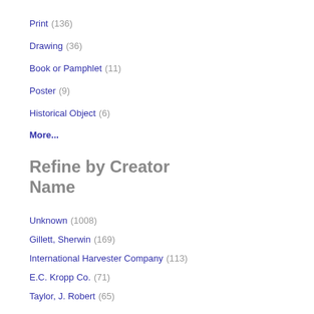Print (136)
Drawing (36)
Book or Pamphlet (11)
Poster (9)
Historical Object (6)
More...
Refine by Creator Name
Unknown (1008)
Gillett, Sherwin (169)
International Harvester Company (113)
E.C. Kropp Co. (71)
Taylor, J. Robert (65)